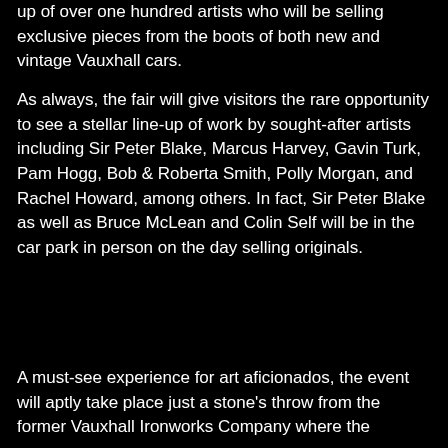up of over one hundred artists who will be selling exclusive pieces from the boots of both new and vintage Vauxhall cars.
As always, the fair will give visitors the rare opportunity to see a stellar line-up of work by sought-after artists including Sir Peter Blake, Marcus Harvey, Gavin Turk, Pam Hogg, Bob & Roberta Smith, Polly Morgan, and Rachel Howard, among others. In fact, Sir Peter Blake as well as Bruce McLean and Colin Self will be in the car park in person on the day selling originals.
A must-see experience for art aficionados, the event will aptly take place just a stone's throw from the former Vauxhall Ironworks Company where the